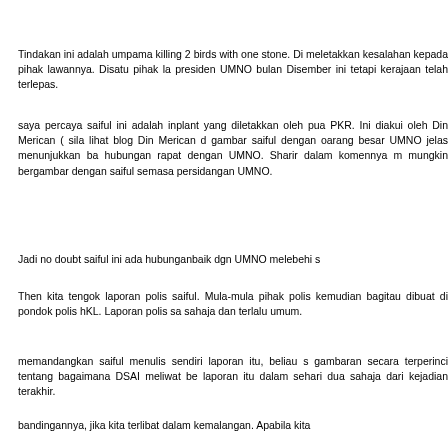Tindakan ini adalah umpama killing 2 birds with one stone. Di meletakkan kesalahan kepada pihak lawannya. Disatu pihak la presiden UMNO bulan Disember ini tetapi kerajaan telah terlepas.
saya percaya saiful ini adalah inplant yang diletakkan oleh pu PKR. Ini diakui oleh Din Merican ( sila lihat blog Din Merican d gambar saiful dengan oarang besar UMNO jelas menunjukkan ba hubungan rapat dengan UMNO. Sharir dalam komennya m mungkin bergambar dengan saiful semasa persidangan UMNO.
Jadi no doubt saiful ini ada hubunganbaik dgn UMNO melebehi s
Then kita tengok laporan polis saiful. Mula-mula pihak polis kemudian bagitau dibuat di pondok polis hKL. Laporan polis sa sahaja dan terlalu umum.
memandangkan saiful menulis sendiri laporan itu, beliau s gambaran secara terperinci tentang bagaimana DSAI meliwat be laporan itu dalam sehari dua sahaja dari kejadian terakhir.
bandingannya, jika kita terlibat dalam kemalangan. Apabila kita secara sendirinya akan menulis secara detail apa yang berlaku. sebelum menandatanganinya bagi memastikan kita kita tidak terti
saiful ni berpelajaran. takkanlah kejadian yang begitu mengej dirinya beliau tak boleh ingat dan tidak tahu menulisnya secar